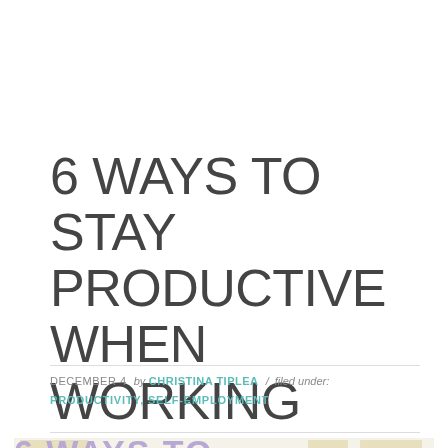6 WAYS TO STAY PRODUCTIVE WHEN WORKING FROM HOME
DECEMBER 4  by CHRISTINA TIPLEA  /  filed under:  PRODUCTIVITY, SELF-EMPLOYMENT
[Figure (illustration): Partial bottom image showing the beginning of a decorative banner/header image with the text '6 WAYS TO' in purple lettering, partially visible at the bottom of the page]